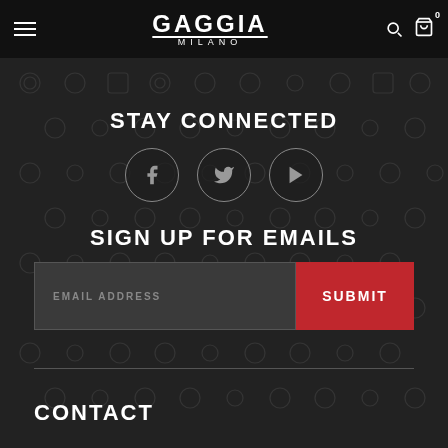GAGGIA MILANO
STAY CONNECTED
[Figure (other): Three social media icons in circles: Facebook (f), Twitter (bird), YouTube (play button)]
SIGN UP FOR EMAILS
[Figure (other): Email signup form with EMAIL ADDRESS input field and red SUBMIT button]
CONTACT